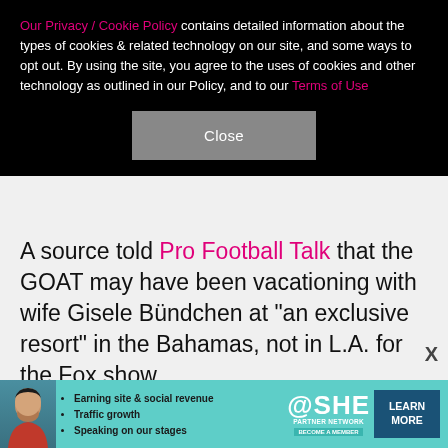Our Privacy / Cookie Policy contains detailed information about the types of cookies & related technology on our site, and some ways to opt out. By using the site, you agree to the uses of cookies and other technology as outlined in our Policy, and to our Terms of Use
Close
A source told Pro Football Talk that the GOAT may have been vacationing with wife Gisele Bündchen at "an exclusive resort" in the Bahamas, not in L.A. for the Fox show.
"His commitment to family and having a personal life was at the heart of this hiatus from football, and there was no medical emergency, as speculated, or other reasons," the website said. "As important as football is to Brady, so is his family, and the Buccaneers have
[Figure (infographic): SHE Partner Network advertisement banner with a woman's photo, bullet points about earning site & social revenue, traffic growth, speaking on our stages, and a Learn More button]